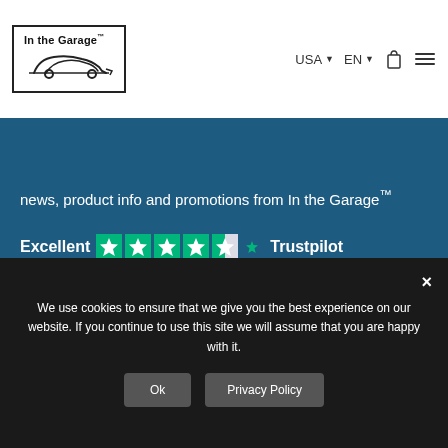[Figure (logo): In the Garage logo with car silhouette line drawing inside a rectangle border]
USA ▼   EN ▼
news, product info and promotions from In the Garage™
[Figure (infographic): Excellent 4.5 star Trustpilot rating with green star icons and Trustpilot logo]
© In the Garage TM    Privacy Policy
We use cookies to ensure that we give you the best experience on our website. If you continue to use this site we will assume that you are happy with it.
Ok    Privacy Policy